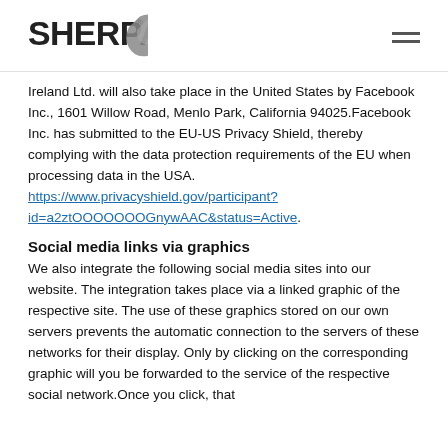SHERPA [logo]
Ireland Ltd. will also take place in the United States by Facebook Inc., 1601 Willow Road, Menlo Park, California 94025.Facebook Inc. has submitted to the EU-US Privacy Shield, thereby complying with the data protection requirements of the EU when processing data in the USA. https://www.privacyshield.gov/participant?id=a2ztOOOOOOOGnywAAC&status=Active.
Social media links via graphics
We also integrate the following social media sites into our website. The integration takes place via a linked graphic of the respective site. The use of these graphics stored on our own servers prevents the automatic connection to the servers of these networks for their display. Only by clicking on the corresponding graphic will you be forwarded to the service of the respective social network.Once you click, that